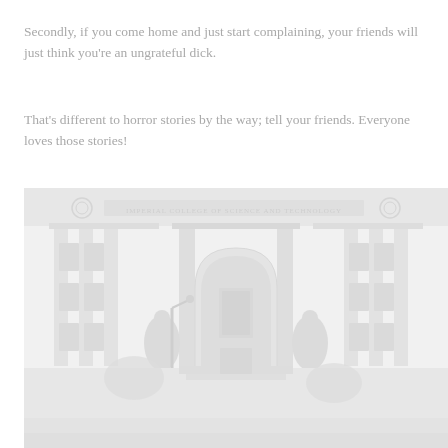Secondly, if you come home and just start complaining, your friends will just think you're an ungrateful dick.
That's different to horror stories by the way; tell your friends. Everyone loves those stories!
[Figure (photo): A faded, washed-out black and white photograph of the facade of Imperial College of Science and Technology, London. The building features classical architecture with large columns, a grand arched entrance, ornate stonework, statues flanking the entrance, and the college name inscribed above the arch. A street lamp is visible in the foreground.]